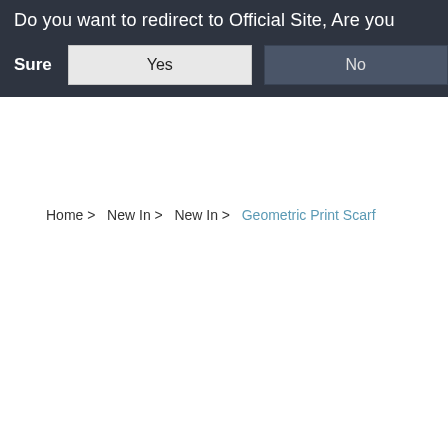Do you want to redirect to Official Site, Are you Sure  Yes  No  £360.00  15 item(s)
Home > New In > New In > Geometric Print Scarf